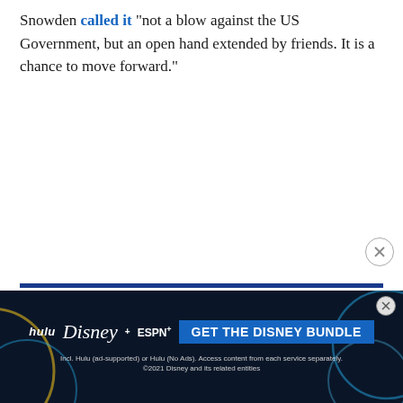Snowden called it "not a blow against the US Government, but an open hand extended by friends. It is a chance to move forward."
Report an ad
[Figure (screenshot): Disney Bundle advertisement banner showing Hulu, Disney+, and ESPN+ logos with 'GET THE DISNEY BUNDLE' call-to-action button and fine print text about access terms.]